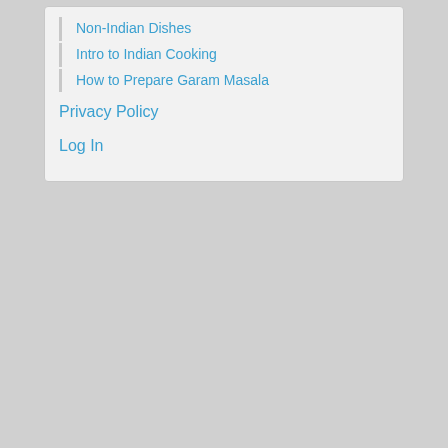Non-Indian Dishes
Intro to Indian Cooking
How to Prepare Garam Masala
Privacy Policy
Log In